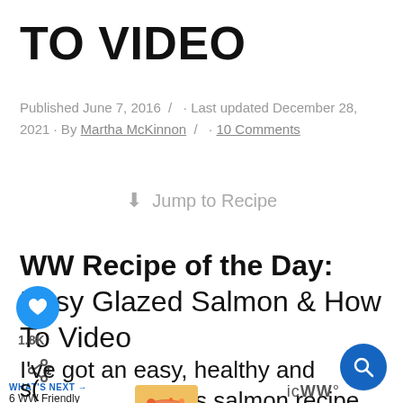TO VIDEO
Published June 7, 2016 / · Last updated December 28, 2021 · By Martha McKinnon / · 10 Comments
⬇ Jump to Recipe
WW Recipe of the Day: Easy Glazed Salmon & How To Video
1.8K
I've got an easy, healthy and delicious salmon recipe to share with you today, from the talented